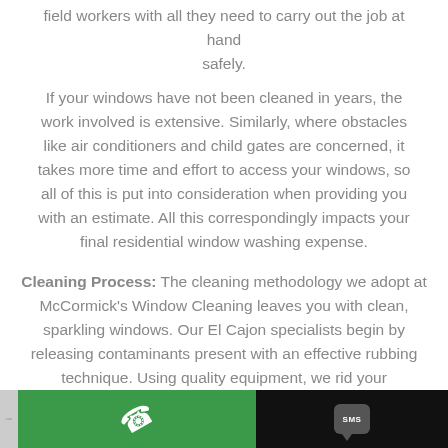field workers with all they need to carry out the job at hand safely.
If your windows have not been cleaned in years, the work involved is extensive. Similarly, where obstacles like air conditioners and child gates are concerned, it takes more time and effort to access your windows, so all of this is put into consideration when providing you with an estimate. All this correspondingly impacts your final residential window washing expense.
Cleaning Process: The cleaning methodology we adopt at McCormick's Window Cleaning leaves you with clean, sparkling windows. Our El Cajon specialists begin by releasing contaminants present with an effective rubbing technique. Using quality equipment, we rid your windowpanes of all dirt. Lastly, windowsills and ledges are wiped clean and dried.
Phone and SMS contact bar